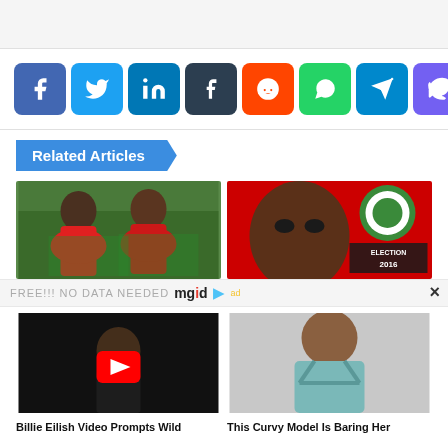[Figure (screenshot): Social media share buttons: Facebook, Twitter, LinkedIn, Tumblr, Reddit, WhatsApp, Telegram, Viber]
Related Articles
[Figure (photo): Two women wearing red and green traditional/festive outfits, outdoors with plants]
[Figure (photo): Woman face close-up on red background with NDC Election 2016 logo]
FREE!!! NO DATA NEEDED mgid
[Figure (photo): Dark image of a woman with a YouTube play button overlay - Billie Eilish video]
[Figure (photo): Curvy model in teal bikini]
Billie Eilish Video Prompts Wild
This Curvy Model Is Baring Her